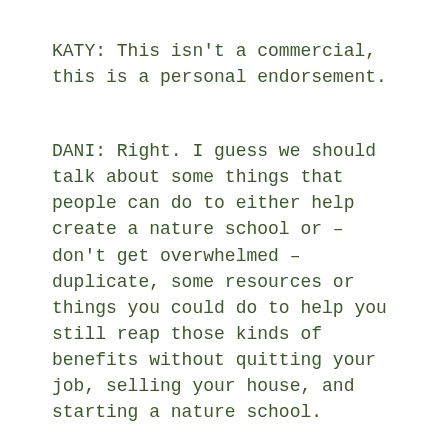KATY: This isn't a commercial, this is a personal endorsement.
DANI: Right. I guess we should talk about some things that people can do to either help create a nature school or – don't get overwhelmed – duplicate, some resources or things you could do to help you still reap those kinds of benefits without quitting your job, selling your house, and starting a nature school.